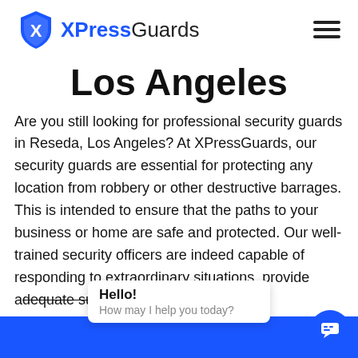[Figure (logo): XPressGuards logo with blue shield/figure icon and text 'XPressGuards']
Los Angeles
Are you still looking for professional security guards in Reseda, Los Angeles? At XPressGuards, our security guards are essential for protecting any location from robbery or other destructive barrages. This is intended to ensure that the paths to your business or home are safe and protected. Our well-trained security officers are indeed capable of responding to extraordinary situations, provide adequate support and assistance
Hello! How may I help you today?